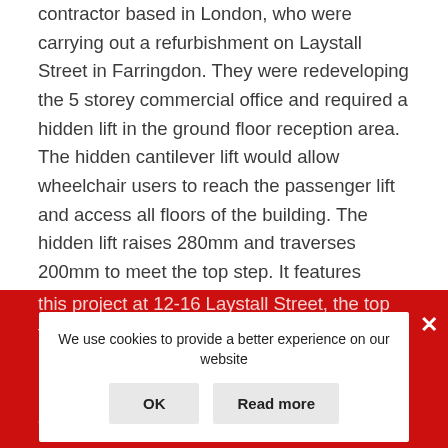contractor based in London, who were carrying out a refurbishment on Laystall Street in Farringdon. They were redeveloping the 5 storey commercial office and required a hidden lift in the ground floor reception area. The hidden cantilever lift would allow wheelchair users to reach the passenger lift and access all floors of the building. The hidden lift raises 280mm and traverses 200mm to meet the top step. It features 100mm roll-off protection on all sides which disappears into the pit when the lift is not in use and the front side lowers when the lift reaches the top step to allow the user to exit the platform. These lifts also feature a 22mm top tray which can be infilled with any material to match the surrounding floor. For this project at 12-16 Laystall Street, the top tray was filled with a complementary tile. Stainless steel trims were used to the tile installation to match the contemporary appearance of the new office space.
We use cookies to provide a better experience on our website